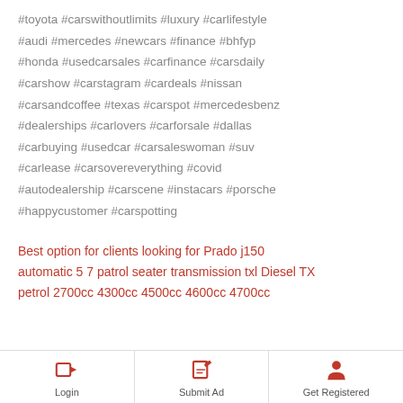#toyota #carswithoutlimits #luxury #carlifestyle #audi #mercedes #newcars #finance #bhfyp #honda #usedcarsales #carfinance #carsdaily #carshow #carstagram #cardeals #nissan #carsandcoffee #texas #carspot #mercedesbenz #dealerships #carlovers #carforsale #dallas #carbuying #usedcar #carsaleswoman #suv #carlease #carsovereverything #covid #autodealership #carscene #instacars #porsche #happycustomer #carspotting
Best option for clients looking for Prado j150 automatic 5 7 patrol seater transmission txl Diesel TX petrol 2700cc 4300cc 4500cc 4600cc 4700cc
Login | Submit Ad | Get Registered